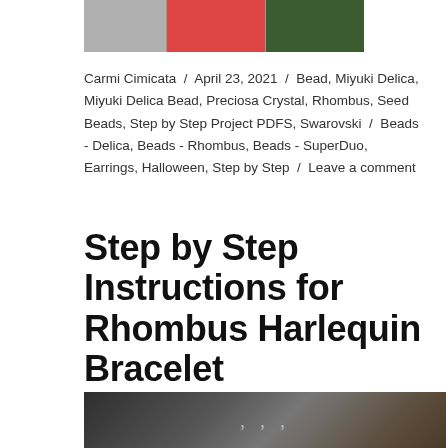[Figure (photo): Partial view of three book/product covers arranged side by side, cropped at the top of the page]
Carmi Cimicata / April 23, 2021 / Bead, Miyuki Delica, Miyuki Delica Bead, Preciosa Crystal, Rhombus, Seed Beads, Step by Step Project PDFS, Swarovski / Beads - Delica, Beads - Rhombus, Beads - SuperDuo, Earrings, Halloween, Step by Step / Leave a comment
Step by Step Instructions for Rhombus Harlequin Bracelet
[Figure (photo): Partial view of a bracelet with black and white beads on a dark background, with decorative script text overlay]